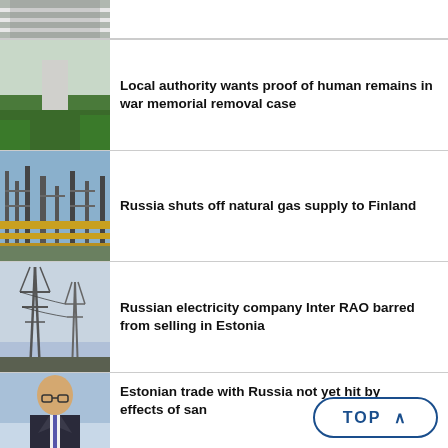[Figure (photo): Road with zebra crossing]
[Figure (photo): Stone war memorial monument in greenery]
Local authority wants proof of human remains in war memorial removal case
[Figure (photo): Industrial gas facility with pipes and structures]
Russia shuts off natural gas supply to Finland
[Figure (photo): Electricity transmission towers against sky]
Russian electricity company Inter RAO barred from selling in Estonia
[Figure (photo): Man in suit speaking, news studio]
Estonian trade with Russia not yet hit by effects of sanctions